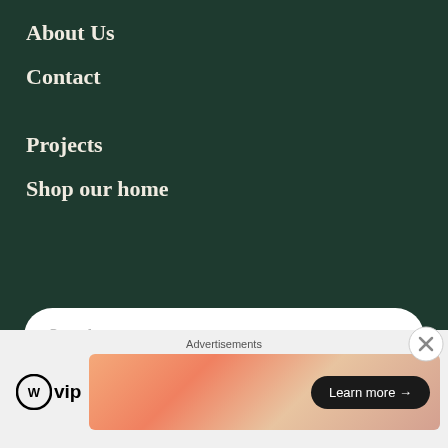About Us
Contact
Projects
Shop our home
Search ...
[Figure (infographic): Social media icons: Facebook, Pinterest, Twitter, Instagram]
Advertisements
[Figure (logo): WordPress VIP logo with circle W icon and 'vip' text]
[Figure (infographic): Advertisement banner with gradient peach/salmon background and 'Learn more →' black pill button]